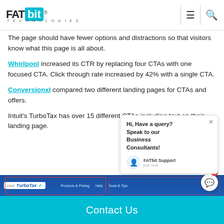FATbit TECHNOLOGIES
The page should have fewer options and distractions so that visitors know what this page is all about.
Whirlpool increased its CTR by replacing four CTAs with one focused CTA. Click through rate increased by 42% with a single CTA.
Conversionxl compared two different landing pages for CTAs and offers.
Intuit's TurboTax has over 15 different CTAs including text on their landing page.
[Figure (screenshot): TurboTax landing page screenshot showing navigation bar with logo, Products & Pricing, Help, Tools & Tips links, with red rectangular outlines highlighting CTA areas]
Contact Us